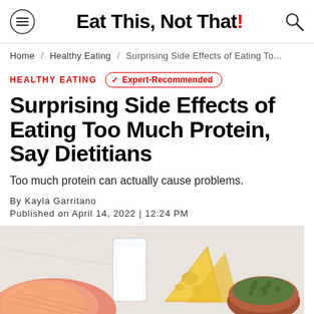Eat This, Not That!
Home / Healthy Eating / Surprising Side Effects of Eating To...
HEALTHY EATING  ✓ Expert-Recommended
Surprising Side Effects of Eating Too Much Protein, Say Dietitians
Too much protein can actually cause problems.
By Kayla Garritano
Published on April 14, 2022 | 12:24 PM
[Figure (photo): Protein-rich foods including salmon, milk in a glass, cheese wedges, and a bowl of green lentils/peas arranged on a light marble surface]